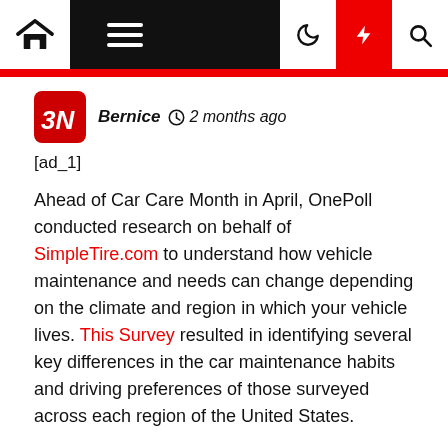Navigation bar with home, menu, dark mode, lightning, and search icons
[ad_1]
Bernice  2 months ago
Ahead of Car Care Month in April, OnePoll conducted research on behalf of SimpleTire.com to understand how vehicle maintenance and needs can change depending on the climate and region in which your vehicle lives. This Survey resulted in identifying several key differences in the car maintenance habits and driving preferences of those surveyed across each region of the United States.
Included in SimpleTire and OnePoll's report are detailed statistics measured through the car care survey which takes each region and climate zone in the US into effect. Most interestingly, their survey